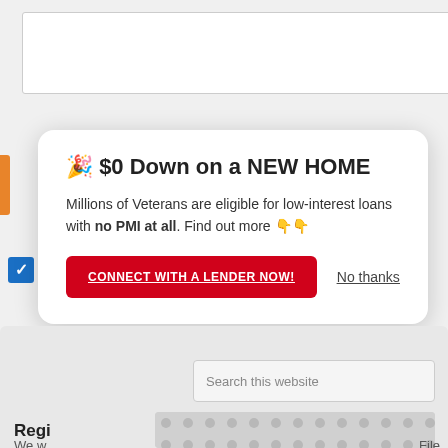[Figure (screenshot): Top area showing a white input box on a light gray background]
[Figure (screenshot): Modal popup card with orange left accent bar and blue checkbox visible. Contains a promotional message about VA home loans.]
🎉 $0 Down on a NEW HOME
Millions of Veterans are eligible for low-interest loans with no PMI at all. Find out more 👇👇
CONNECT WITH A LENDER NOW!
No thanks
[Figure (screenshot): Bottom section showing a search box labeled 'Search this website', a partially visible 'Regi' section heading, a decorative dot-pattern image placeholder, and cut-off text at bottom reading 'We w...' and 'File...']